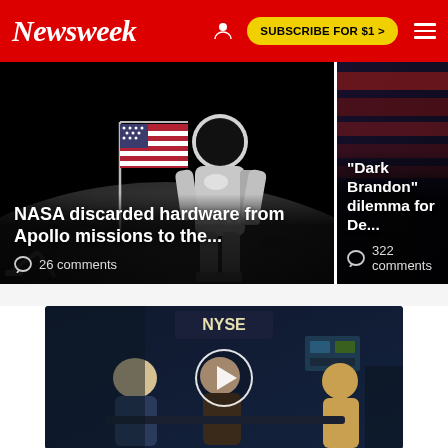Newsweek | SUBSCRIBE FOR $1 >
[Figure (photo): Moon landing photo: astronaut in spacesuit standing next to American flag on lunar surface, dark background. Main article card.]
NASA discarded hardware from Apollo missions to the...
26 comments
[Figure (photo): Dark background with American flag, partial view. Side article card.]
"Dark Brandon" dilemma for De...
322 comments
[Figure (photo): NYSE trading floor video thumbnail with two people being interviewed, play button overlay. Text shows NYSE sign above.]